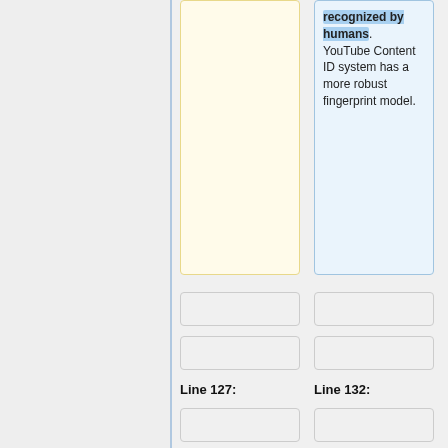recognized by humans. YouTube Content ID system has a more robust fingerprint model.
Line 127:
Line 132:
== Conclusion ==
== Conclusion ==
In conclusion, many industrial copyright detection systems used in the popular video and music
In this paper, we obtain that many industrial copyright detection systems used in popular video